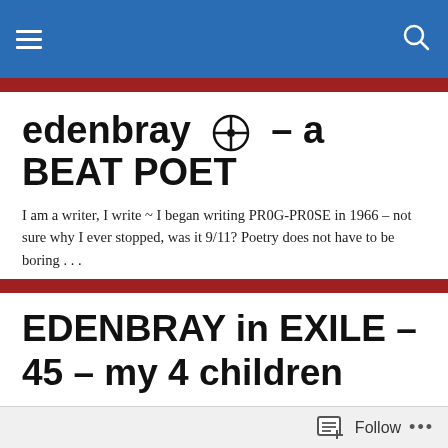edenbray ⊕ – a BEAT POET (navigation bar)
edenbray ⊕ – a BEAT POET
I am a writer, I write ~ I began writing PR0G-PR0SE in 1966 – not sure why I ever stopped, was it 9/11? Poetry does not have to be boring . . .
EDENBRAY in EXILE – 45 – my 4 children
'Edenbray in Exile'
A Retrospective Anthology of 50 Poems.
Follow •••